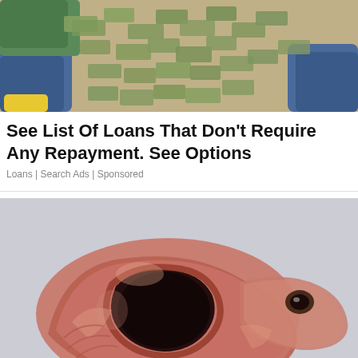[Figure (photo): Top-down photo of a person lying on a large spread of US dollar bills, wearing jeans and a green jacket, with yellow shoes visible]
See List Of Loans That Don’t Require Any Repayment. See Options
Loans | Search Ads | Sponsored
[Figure (photo): Close-up macro photo of what appears to be a biological specimen or embryo with red/pink translucent tissue, a dark cavity, and a small eye-like structure, set against a light gray background. Progress bar with four segments visible at bottom.]